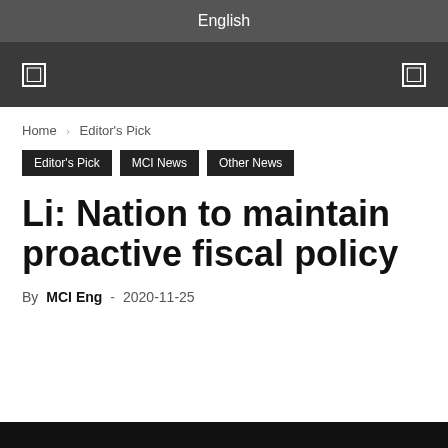English
[ ] [ ]
Home › Editor's Pick
Editor's Pick
MCI News
Other News
Li: Nation to maintain proactive fiscal policy
By MCI Eng - 2020-11-25